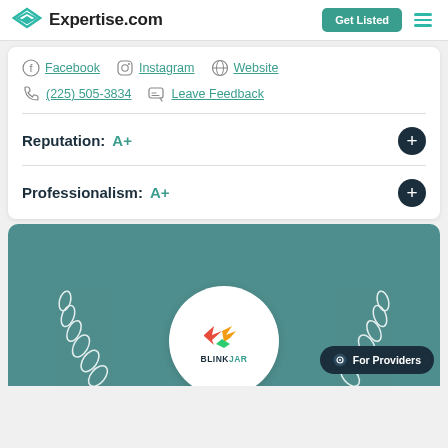Expertise.com
Facebook  Instagram  Website
(225) 505-3834  Leave Feedback
Reputation: A+
Professionalism: A+
[Figure (logo): BlinkJar logo inside award badge with laurel wreath on teal background]
For Providers